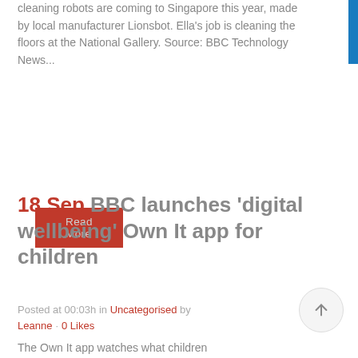cleaning robots are coming to Singapore this year, made by local manufacturer Lionsbot. Ella's job is cleaning the floors at the National Gallery. Source: BBC Technology News...
Read More
18 Sep BBC launches 'digital wellbeing' Own It app for children
Posted at 00:03h in Uncategorised by Leanne · 0 Likes
The Own It app watches what children